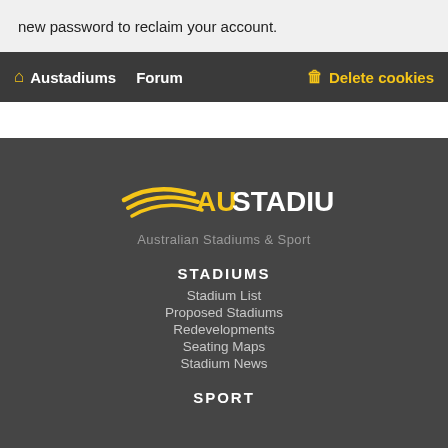new password to reclaim your account.
Austadiums  Forum  Delete cookies
[Figure (logo): Austadiums logo with yellow swoosh and bold text AUSTADIUMS]
Australian Stadiums & Sport
STADIUMS
Stadium List
Proposed Stadiums
Redevelopments
Seating Maps
Stadium News
SPORT